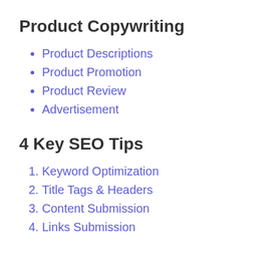Product Copywriting
Product Descriptions
Product Promotion
Product Review
Advertisement
4 Key SEO Tips
Keyword Optimization
Title Tags & Headers
Content Submission
Links Submission